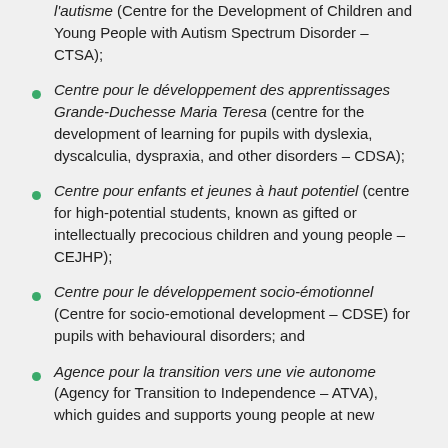l'autisme (Centre for the Development of Children and Young People with Autism Spectrum Disorder – CTSA);
Centre pour le développement des apprentissages Grande-Duchesse Maria Teresa (centre for the development of learning for pupils with dyslexia, dyscalculia, dyspraxia, and other disorders – CDSA);
Centre pour enfants et jeunes à haut potentiel (centre for high-potential students, known as gifted or intellectually precocious children and young people – CEJHP);
Centre pour le développement socio-émotionnel (Centre for socio-emotional development – CDSE) for pupils with behavioural disorders; and
Agence pour la transition vers une vie autonome (Agency for Transition to Independence – ATVA), which guides and supports young people at new